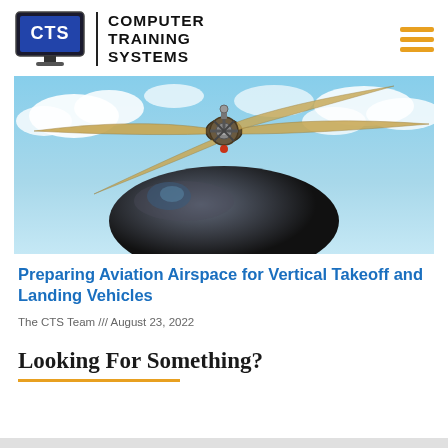[Figure (logo): Computer Training Systems (CTS) logo with monitor icon and company name text]
[Figure (photo): Close-up photo of a helicopter rotor and fuselage against a blue sky with clouds]
Preparing Aviation Airspace for Vertical Takeoff and Landing Vehicles
The CTS Team /// August 23, 2022
Looking For Something?